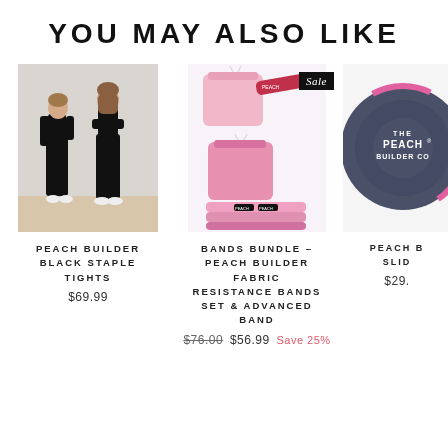YOU MAY ALSO LIKE
[Figure (photo): Two women in black workout clothes standing in a studio]
PEACH BUILDER BLACK STAPLE TIGHTS
$69.99
[Figure (photo): Pink fabric resistance bands set with pouches, Sale badge]
BANDS BUNDLE – PEACH BUILDER FABRIC RESISTANCE BANDS SET & ADVANCED BAND
$76.00 $56.99 Save 25%
[Figure (photo): Dark grey circular sliders with Peach Builder Co logo, partially visible]
PEACH B... SLID...
$29...